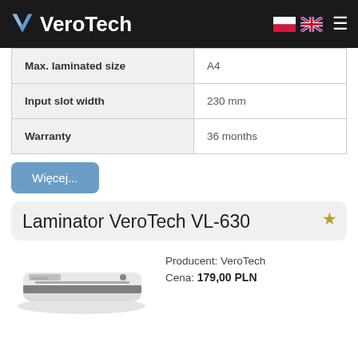VeroTech
| Specification | Value |
| --- | --- |
| Max. laminated size | A4 |
| Input slot width | 230 mm |
| Warranty | 36 months |
Więcej...
Laminator VeroTech VL-630
Producent: VeroTech
Cena: 179,00 PLN
[Figure (photo): Photo of VeroTech VL-630 laminator, white/silver device, slim horizontal form factor]